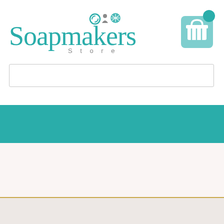[Figure (logo): Soapmakers Store logo with teal text and decorative icons above the letters, with 'Store' in spaced grey letters below]
[Figure (illustration): Shopping cart / basket icon in white on a teal rounded square background, with a teal circle badge in upper right corner]
[Figure (screenshot): Empty white search input box with light grey border]
[Figure (screenshot): Solid teal navigation banner bar]
[Figure (screenshot): Light pinkish-white content area below navigation]
[Figure (screenshot): Thin gold horizontal divider line]
[Figure (screenshot): Light beige-grey footer area]